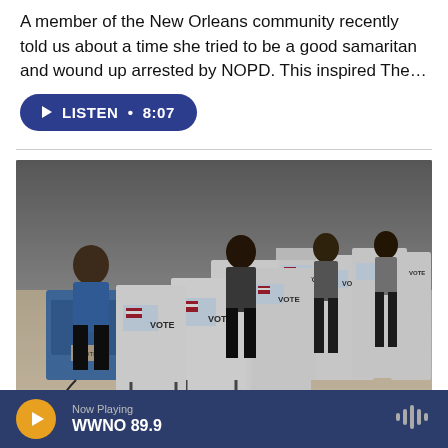A member of the New Orleans community recently told us about a time she tried to be a good samaritan and wound up arrested by NOPD. This inspired The…
LISTEN • 8:07
[Figure (photo): People standing at voting booths labeled 'VOTE' with American flags in what appears to be a polling location.]
Now Playing WWNO 89.9